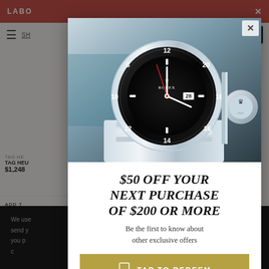LABO | SH
TAG HEUER
TAG HEUER   Quartz
$1,248
ADD T
$50 OFF YOUR NEXT PURCHASE OF $200 OR MORE
Be the first to know about other exclusive offers
TAP TO REDEEM
By joining via text messages, you agree to receive recurring marketing messages (e.g. cart abandon) from TrueFace at the mobile number used to send the join text message. Msg & data rates may apply. Msg frequency varies. Consent is not a
We use ...and to send y...ur site, you p...gnize c...
[Figure (photo): Close-up photo of a Rolex GMT-Master II watch with black bezel and steel bracelet, showing crown detail]